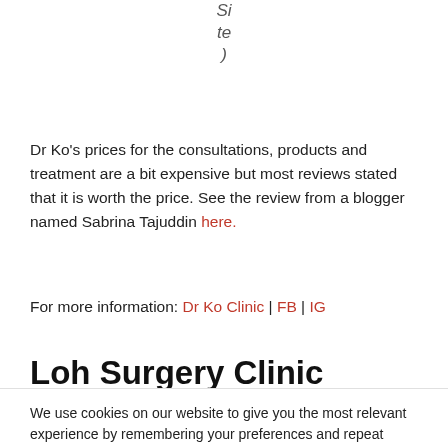Si
te
)
Dr Ko's prices for the consultations, products and treatment are a bit expensive but most reviews stated that it is worth the price. See the review from a blogger named Sabrina Tajuddin here.
For more information: Dr Ko Clinic | FB | IG
Loh Surgery Clinic
We use cookies on our website to give you the most relevant experience by remembering your preferences and repeat visits. By clicking “Accept”, you consent to the use of ALL the cookies.
Do not sell my personal information.